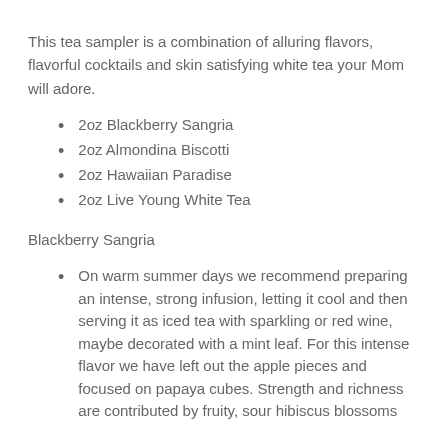This tea sampler is a combination of alluring flavors, flavorful cocktails and skin satisfying white tea your Mom will adore.
2oz Blackberry Sangria
2oz Almondina Biscotti
2oz Hawaiian Paradise
2oz Live Young White Tea
Blackberry Sangria
On warm summer days we recommend preparing an intense, strong infusion, letting it cool and then serving it as iced tea with sparkling or red wine, maybe decorated with a mint leaf. For this intense flavor we have left out the apple pieces and focused on papaya cubes. Strength and richness are contributed by fruity, sour hibiscus blossoms